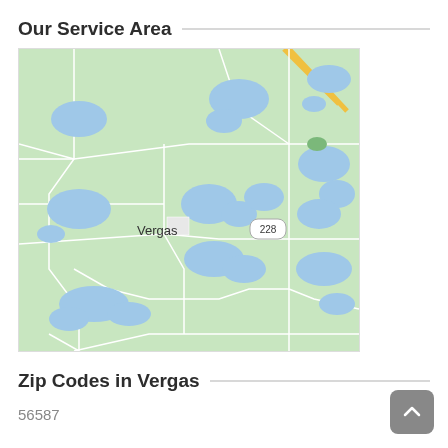Our Service Area
[Figure (map): A Google Maps-style map centered on Vergas, Minnesota, showing green terrain with blue lakes and ponds. Township/county boundary lines in white. Route 228 labeled. The town of Vergas is marked with a small square.]
Zip Codes in Vergas
56587
[Figure (other): Back-to-top button, a gray rounded square with an upward chevron arrow icon.]